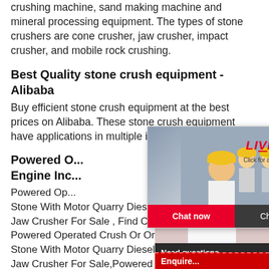crushing machine, sand making machine and mineral processing equipment. The types of stone crushers are cone crusher, jaw crusher, impact crusher, and mobile rock crushing.
Best Quality stone crush equipment - Alibaba
Buy efficient stone crush equipment at the best prices on Alibaba. These stone crush equipment have applications in multiple indu...
Powered O... Engine Inc...
Powered Op... Stone With Motor Quarry Diesel Operate... Jaw Crusher For Sale , Find Complete D... Powered Operated Crush Or Ore Machin... Stone With Motor Quarry Diesel Operate... Jaw Crusher For Sale,Powered Operated... Machine Engine Indian Stone With Motor... Operated Stone
[Figure (screenshot): Live Chat popup overlay with workers in hard hats on the left, 'LIVE CHAT - Click for a Free Consultation' text, Chat now and Chat later buttons. To the right, a red banner saying 'Hrs Online', a customer service agent photo, 'Need questions & suggestion? Chat Now' box, and an 'Enquire' strip at bottom.]